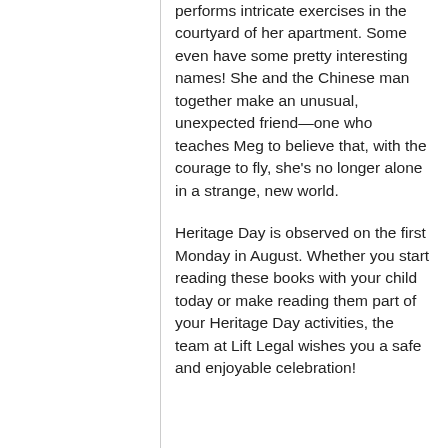performs intricate exercises in the courtyard of her apartment. Some even have some pretty interesting names! She and the Chinese man together make an unusual, unexpected friend—one who teaches Meg to believe that, with the courage to fly, she's no longer alone in a strange, new world.
Heritage Day is observed on the first Monday in August. Whether you start reading these books with your child today or make reading them part of your Heritage Day activities, the team at Lift Legal wishes you a safe and enjoyable celebration!